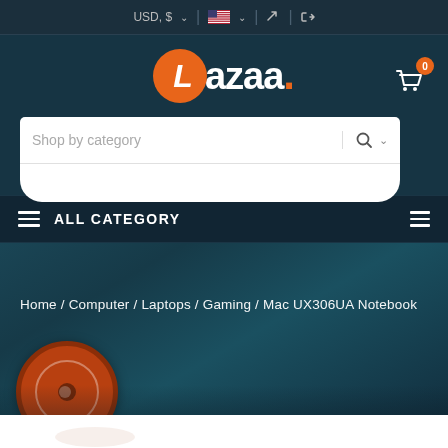USD, $ | [flag] | [edit icon] | [login icon]
[Figure (logo): Lazaa. e-commerce logo with orange circle containing italic L and white text]
Shop by category
[Figure (infographic): Shopping cart icon with orange badge showing 0]
ALL CATEGORY
Home / Computer / Laptops / Gaming / Mac UX306UA Notebook
[Figure (illustration): Orange circular product icon with inner ring]